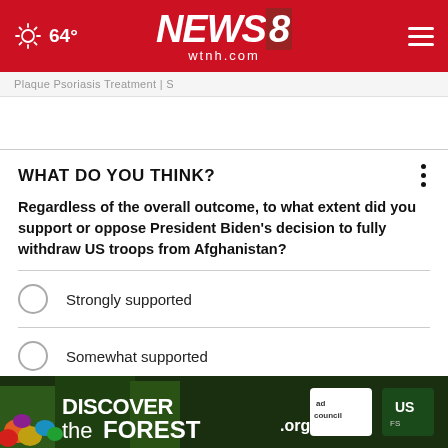NEWS 8 wtnh.com | 64°
Plaque Psoriasis Treatment | S
WHAT DO YOU THINK?
Regardless of the overall outcome, to what extent did you support or oppose President Biden's decision to fully withdraw US troops from Afghanistan?
Strongly supported
Somewhat supported
Somewhat opposed
Strongly opposed
[Figure (other): Discover the Forest advertisement banner with colorful forest imagery, ad council and US Forest Service logos]